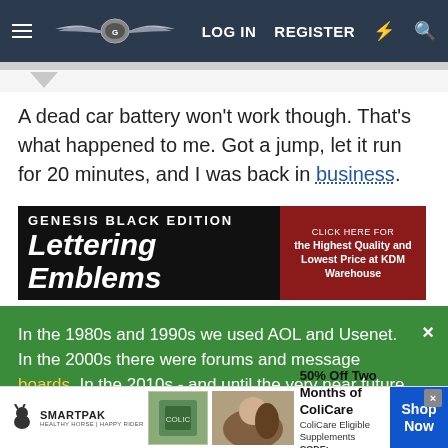LOG IN  REGISTER
A dead car battery won't work though. That's what happened to me. Got a jump, let it run for 20 minutes, and I was back in business.
[Figure (screenshot): Advertisement banner for Genesis Black Edition Lettering Emblems - CLICK HERE for the Highest Quality and Lowest Price at KDM Warehouse]
In the 1980s and 1990s we used AOL and Usenet. In the 2000s there were forums and message boards. In the 2010s - and until the very near future - Facebook and Instagram. Sal, the Administrator of this community, has something new coming for Genesis owners... Become an early adopter of what's next by SIGNING UP HERE. Your email address will
[Figure (screenshot): SmartPak advertisement: 50% Off Two Months of ColiCare - ColiCare Eligible Supplements CODE: COLICARE10 - Shop Now]